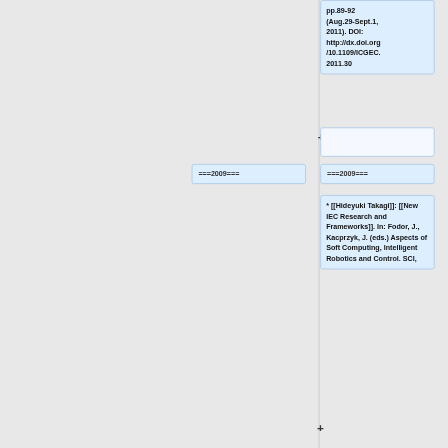pp.89-92 (Aug.29-Sept.1, 2011). DOI: http://dx.doi.org/10.1109/ICGEC.2011.30
+
===2009===
===2009===
* [[Hideyuki Takagi]]: [[New IEC Research and Frameworks]]. In: Fodor, J., Kacprzyk, J. (eds.) Aspects of Soft Computing, Intelligent Robotics and Control. SCI,
+